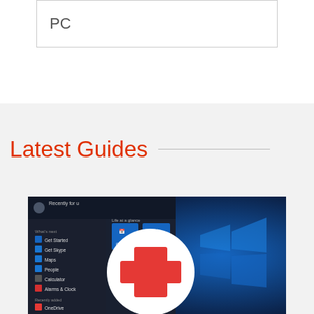PC
Latest Guides
[Figure (screenshot): Windows 10 Start Menu screenshot overlaid with a red medical cross symbol inside a white circle, representing a PC repair or help guide.]